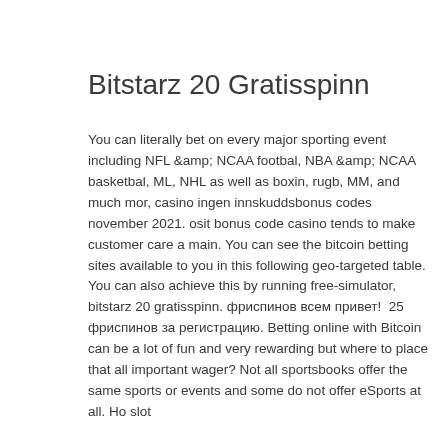Bitstarz 20 Gratisspinn
You can literally bet on every major sporting event including NFL &amp; NCAA footbal, NBA &amp; NCAA basketbal, ML, NHL as well as boxin, rugb, MM, and much mor, casino ingen innskuddsbonus codes november 2021. osit bonus code casino tends to make customer care a main. You can see the bitcoin betting sites available to you in this following geo-targeted table. You can also achieve this by running free-simulator, bitstarz 20 gratisspinn. фриспинов всем привет!  25 фриспинов за регистрацию. Betting online with Bitcoin can be a lot of fun and very rewarding but where to place that all important wager? Not all sportsbooks offer the same sports or events and some do not offer eSports at all. Ho slot